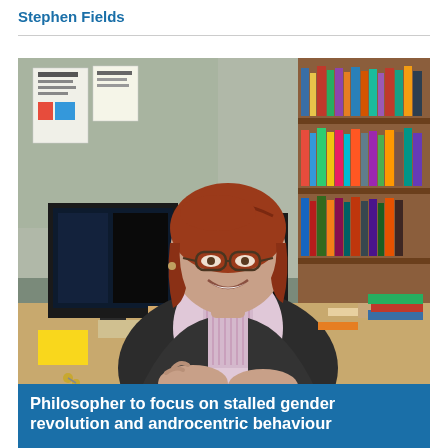Stephen Fields
[Figure (photo): A woman with red hair and glasses sits smiling at a desk in an office, with bookshelves filled with books behind her and computer monitors to her left.]
Philosopher to focus on stalled gender revolution and androcentric behaviour